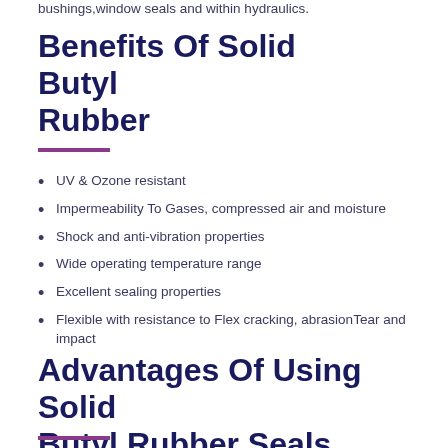bushings,window seals and within hydraulics.
Benefits Of Solid Butyl Rubber
UV & Ozone resistant
Impermeability To Gases, compressed air and moisture
Shock and anti-vibration properties
Wide operating temperature range
Excellent sealing properties
Flexible with resistance to Flex cracking, abrasionTear and impact
Advantages Of Using Solid Butyl Rubber Seals